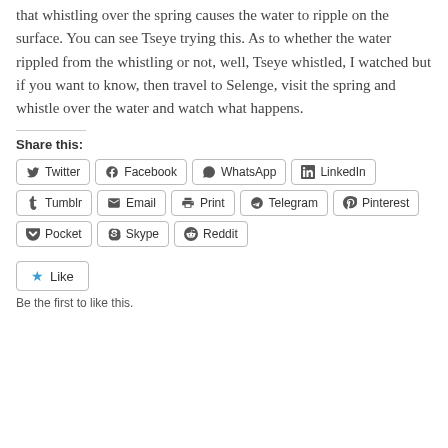that whistling over the spring causes the water to ripple on the surface. You can see Tseye trying this. As to whether the water rippled from the whistling or not, well, Tseye whistled, I watched but if you want to know, then travel to Selenge, visit the spring and whistle over the water and watch what happens.
Share this:
[Figure (infographic): Social sharing buttons: Twitter, Facebook, WhatsApp, LinkedIn, Tumblr, Email, Print, Telegram, Pinterest, Pocket, Skype, Reddit]
[Figure (infographic): Like button with star icon]
Be the first to like this.